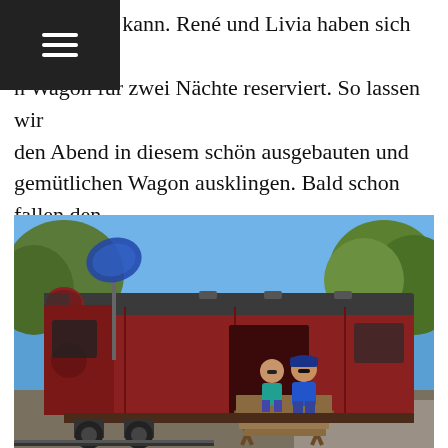☰ (navigation menu icon)
den, mieten kann. René und Livia haben sich so n Wagon für zwei Nächte reserviert. So lassen wir den Abend in diesem schön ausgebauten und gemütlichen Wagon ausklingen. Bald schon fallen den zweien die Augen zu, tja der Flug von 24 Stunden plus 12 Stunden Zeitverschiebung gehen nicht ganz spurlos an einem vorbei.
[Figure (photo): A red vintage train wagon/carriage converted into accommodation, with two people sitting on a wooden deck/platform attached to the wagon. Trees and blue sky visible in the background.]